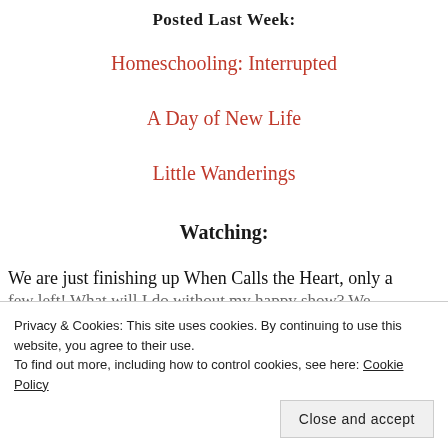Posted Last Week:
Homeschooling: Interrupted
A Day of New Life
Little Wanderings
Watching:
We are just finishing up When Calls the Heart, only a few left! What will I do without my happy show? We
Privacy & Cookies: This site uses cookies. By continuing to use this website, you agree to their use.
To find out more, including how to control cookies, see here: Cookie Policy
Close and accept